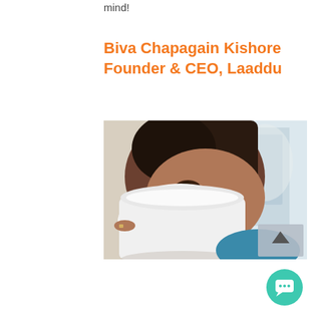mind!
Biva Chapagain Kishore
Founder & CEO, Laaddu
[Figure (photo): A woman holding a large white mug up to her face, with a light background visible through a window. A scroll-up button overlay is visible in the bottom right corner of the photo.]
[Figure (other): A teal/green circular chat button with a speech bubble icon in the bottom right of the page.]